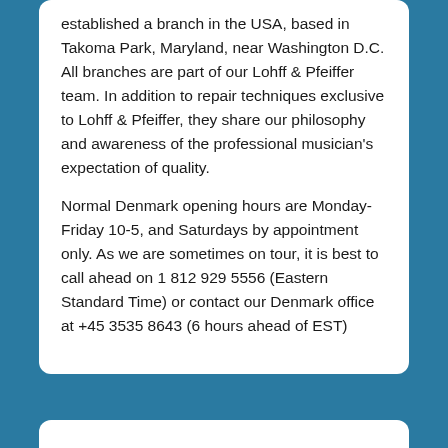established a branch in the USA, based in Takoma Park, Maryland, near Washington D.C. All branches are part of our Lohff & Pfeiffer team. In addition to repair techniques exclusive to Lohff & Pfeiffer, they share our philosophy and awareness of the professional musician's expectation of quality.
Normal Denmark opening hours are Monday-Friday 10-5, and Saturdays by appointment only. As we are sometimes on tour, it is best to call ahead on 1 812 929 5556 (Eastern Standard Time) or contact our Denmark office at +45 3535 8643 (6 hours ahead of EST)